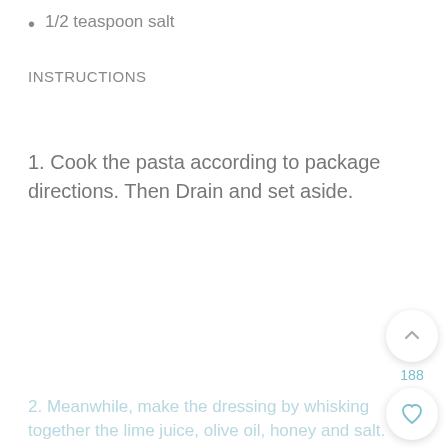1/2 teaspoon salt
INSTRUCTIONS
1. Cook the pasta according to package directions. Then Drain and set aside.
[Figure (other): Floating action buttons: up-arrow with count 188, heart/favorite icon, and teal search/magnifier icon]
2. Meanwhile, make the dressing by whisking together the lime juice, olive oil, honey and salt.